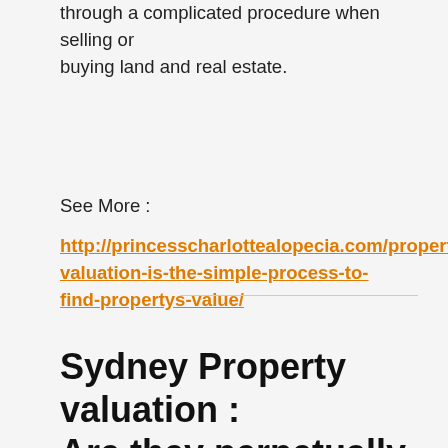through a complicated procedure when selling or buying land and real estate.
See More :
http://princesscharlottealopecia.com/property-valuation-is-the-simple-process-to-find-propertys-value/
Sydney Property valuation : Are they perpetually the similar?